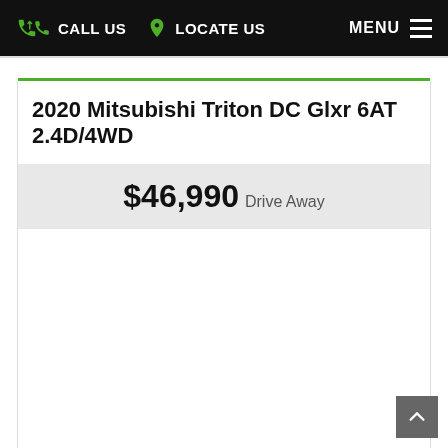CALL US   LOCATE US   MENU
2020 Mitsubishi Triton DC Glxr 6AT 2.4D/4WD
$46,990 Drive Away